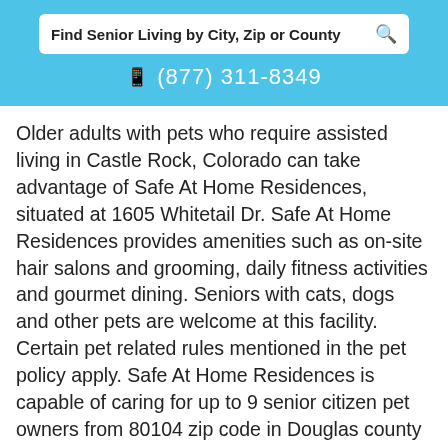Find Senior Living by City, Zip or County
(877) 311-8349
Older adults with pets who require assisted living in Castle Rock, Colorado can take advantage of Safe At Home Residences, situated at 1605 Whitetail Dr. Safe At Home Residences provides amenities such as on-site hair salons and grooming, daily fitness activities and gourmet dining. Seniors with cats, dogs and other pets are welcome at this facility. Certain pet related rules mentioned in the pet policy apply. Safe At Home Residences is capable of caring for up to 9 senior citizen pet owners from 80104 zip code in Douglas county and nearby areas.